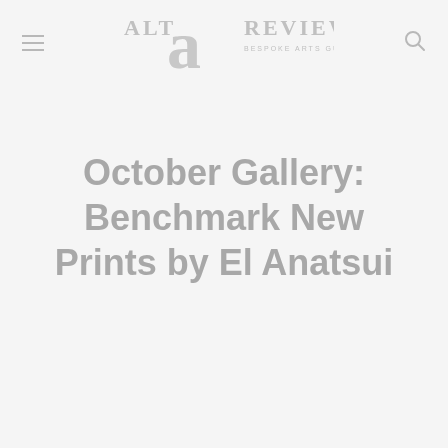ALTA REVIEW — BESPOKE ARTS GUIDE
October Gallery: Benchmark New Prints by El Anatsui